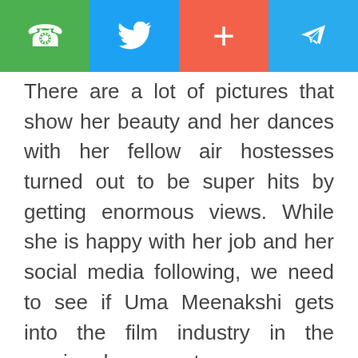[Figure (screenshot): Social media share bar with four buttons: WhatsApp (green), Twitter (blue), Google Plus (red-orange), Telegram (blue)]
There are a lot of pictures that show her beauty and her dances with her fellow air hostesses turned out to be super hits by getting enormous views. While she is happy with her job and her social media following, we need to see if Uma Meenakshi gets into the film industry in the coming days or not.
[Figure (screenshot): Black video player area with a white play triangle button in the center]